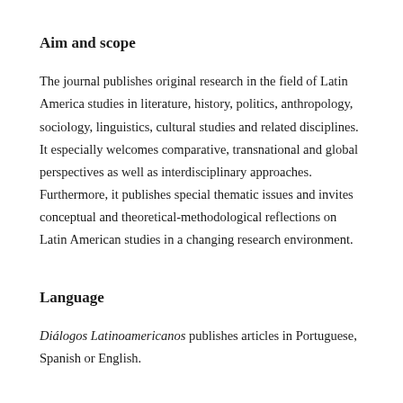Aim and scope
The journal publishes original research in the field of Latin America studies in literature, history, politics, anthropology, sociology, linguistics, cultural studies and related disciplines. It especially welcomes comparative, transnational and global perspectives as well as interdisciplinary approaches. Furthermore, it publishes special thematic issues and invites conceptual and theoretical-methodological reflections on Latin American studies in a changing research environment.
Language
Diálogos Latinoamericanos publishes articles in Portuguese, Spanish or English.